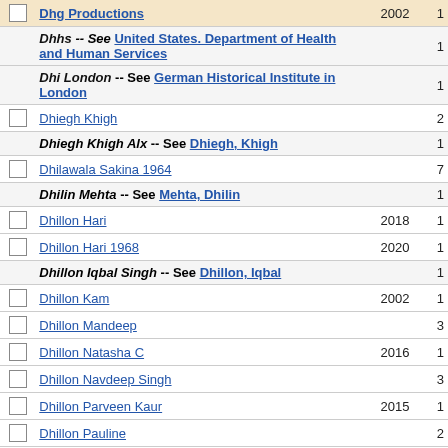| checkbox | name | year | count |
| --- | --- | --- | --- |
| ☑ | Dhg Productions | 2002 | 1 |
|  | Dhhs -- See United States. Department of Health and Human Services |  | 1 |
|  | Dhi London -- See German Historical Institute in London |  | 1 |
| ☑ | Dhiegh Khigh |  | 2 |
|  | Dhiegh Khigh Alx -- See Dhiegh, Khigh |  | 1 |
| ☑ | Dhilawala Sakina 1964 |  | 7 |
|  | Dhilin Mehta -- See Mehta, Dhilin |  | 1 |
| ☑ | Dhillon Hari | 2018 | 1 |
| ☑ | Dhillon Hari 1968 | 2020 | 1 |
|  | Dhillon Iqbal Singh -- See Dhillon, Iqbal |  | 1 |
| ☑ | Dhillon Kam | 2002 | 1 |
| ☑ | Dhillon Mandeep |  | 3 |
| ☑ | Dhillon Natasha C | 2016 | 1 |
| ☑ | Dhillon Navdeep Singh |  | 3 |
| ☑ | Dhillon Parveen Kaur | 2015 | 1 |
| ☑ | Dhillon Pauline |  | 2 |
| ☑ | Dhillon Soraya | 2009 | 1 |